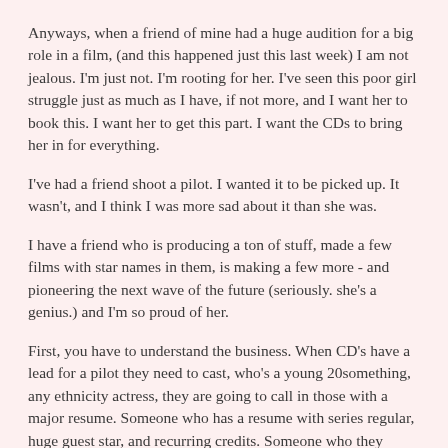Anyways, when a friend of mine had a huge audition for a big role in a film, (and this happened just this last week) I am not jealous. I'm just not. I'm rooting for her. I've seen this poor girl struggle just as much as I have, if not more, and I want her to book this. I want her to get this part. I want the CDs to bring her in for everything.
I've had a friend shoot a pilot. I wanted it to be picked up. It wasn't, and I think I was more sad about it than she was.
I have a friend who is producing a ton of stuff, made a few films with star names in them, is making a few more - and pioneering the next wave of the future (seriously. she's a genius.) and I'm so proud of her.
First, you have to understand the business. When CD's have a lead for a pilot they need to cast, who's a young 20something, any ethnicity actress, they are going to call in those with a major resume. Someone who has a resume with series regular, huge guest star, and recurring credits. Someone who they know well. Someone who is probably already a name.